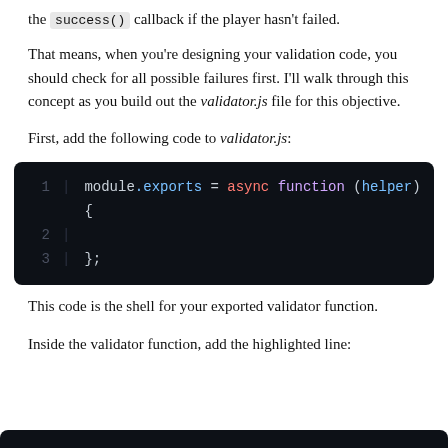the success() callback if the player hasn't failed.
That means, when you're designing your validation code, you should check for all possible failures first. I'll walk through this concept as you build out the validator.js file for this objective.
First, add the following code to validator.js:
[Figure (screenshot): Code block on dark background showing: 1 | module.exports = async function (helper) {  2 |  3 | };]
This code is the shell for your exported validator function.
Inside the validator function, add the highlighted line: